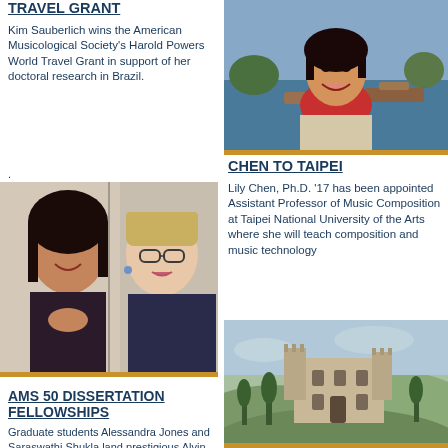TRAVEL GRANT
Kim Sauberlich wins the American Musicological Society's Harold Powers World Travel Grant in support of her doctoral research in Brazil.
[Figure (photo): Photo of Kim Sauberlich smiling outdoors near water with boats in background]
[Figure (photo): Photo of two women: one with dark hair clasping hands, one with glasses and blonde hair]
CHEN TO TAIPEI
Lily Chen, Ph.D. '17 has been appointed Assistant Professor of Music Composition at Taipei National University of the Arts where she will teach composition and music technology
AMS 50 DISSERTATION FELLOWSHIPS
Graduate students Alessandra Jones and Saraswathi Shukla land prestigious Alvin H. Johnson AMS 50 Dissertation Fellowships
[Figure (photo): Aerial photo of a historic castle or villa on a hilltop surrounded by Italian countryside]